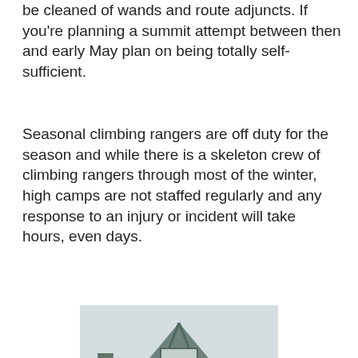be cleaned of wands and route adjuncts. If you're planning a summit attempt between then and early May plan on being totally self-sufficient.
Seasonal climbing rangers are off duty for the season and while there is a skeleton crew of climbing rangers through most of the winter, high camps are not staffed regularly and any response to an injury or incident will take hours, even days.
[Figure (photo): A large A-frame style wooden building with dark green/grey siding, surrounded by tall evergreen trees in foggy misty conditions. The building has a steep triangular roof and multiple windows on its facade.]